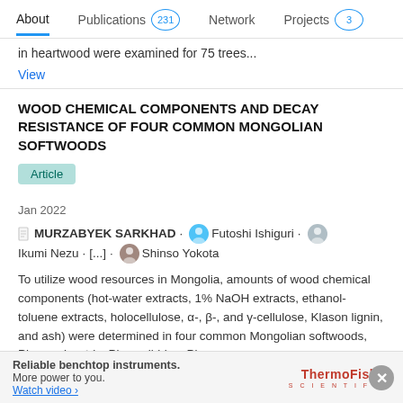About  Publications 231  Network  Projects 3
in heartwood were examined for 75 trees...
View
WOOD CHEMICAL COMPONENTS AND DECAY RESISTANCE OF FOUR COMMON MONGOLIAN SOFTWOODS
Article
Jan 2022
MURZABYEK SARKHAD · Futoshi Ishiguri · Ikumi Nezu · [...] · Shinso Yokota
To utilize wood resources in Mongolia, amounts of wood chemical components (hot-water extracts, 1% NaOH extracts, ethanol-toluene extracts, holocellulose, α-, β-, and γ-cellulose, Klason lignin, and ash) were determined in four common Mongolian softwoods, Pinus sylvestris, Pinus sibirica, Picea
Reliable benchtop instruments. More power to you. Watch video › ThermoFisher SCIENTIFIC